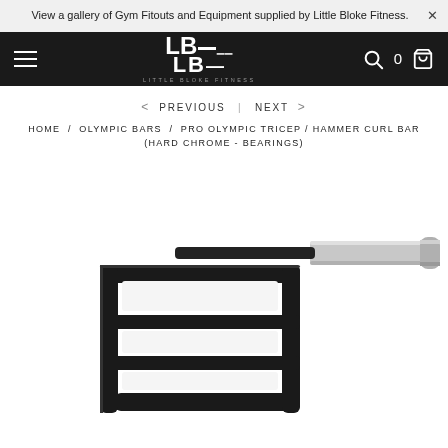View a gallery of Gym Fitouts and Equipment supplied by Little Bloke Fitness.
[Figure (logo): Little Bloke Fitness LBF logo in white on dark background]
< PREVIOUS | NEXT >
HOME / OLYMPIC BARS / PRO OLYMPIC TRICEP / HAMMER CURL BAR (HARD CHROME - BEARINGS)
[Figure (photo): Pro Olympic Tricep / Hammer Curl Bar in black with silver chrome sleeve, angled view showing the multi-grip rectangular frame and end sleeve]